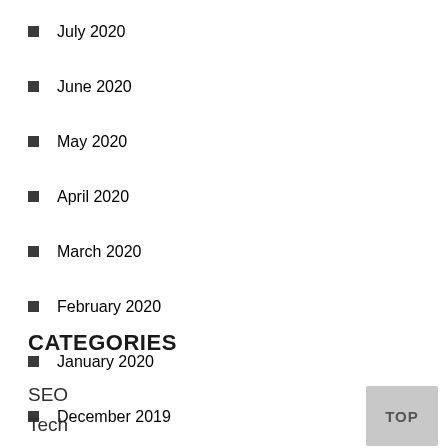July 2020
June 2020
May 2020
April 2020
March 2020
February 2020
January 2020
December 2019
CATEGORIES
SEO
Tech
Home Improvement